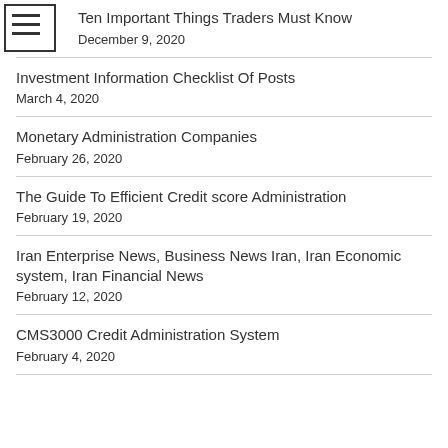Ten Important Things Traders Must Know
December 9, 2020
Investment Information Checklist Of Posts
March 4, 2020
Monetary Administration Companies
February 26, 2020
The Guide To Efficient Credit score Administration
February 19, 2020
Iran Enterprise News, Business News Iran, Iran Economic system, Iran Financial News
February 12, 2020
CMS3000 Credit Administration System
February 4, 2020